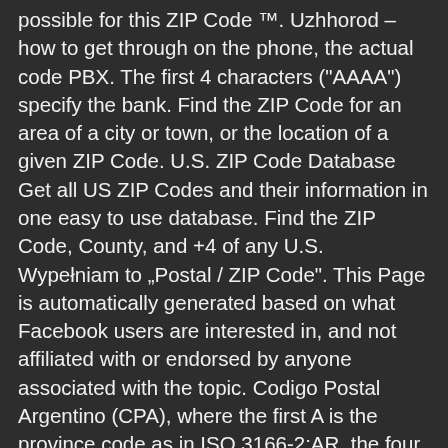possible for this ZIP Code ™. Uzhhorod – how to get through on the phone, the actual code PBX. The first 4 characters ("AAAA") specify the bank. Find the ZIP Code for an area of a city or town, or the location of a given ZIP Code. U.S. ZIP Code Database Get all US ZIP Codes and their information in one easy to use database. Find the ZIP Code, County, and +4 of any U.S. Wypełniam to „Postal / ZIP Code". This Page is automatically generated based on what Facebook users are interested in, and not affiliated with or endorsed by anyone associated with the topic. Codigo Postal Argentino (CPA), where the first A is the province code as in ISO 3166-2:AR, the four numbers are the old postal codes, the three last letters indicate a side of the block. The first 3 digits of a ZIP code determine the central mail processing facility, also called sectional center facility or "sec center", that is used to process and sort mail. "9011", "AB1", "9980-999") or a city (eg. Please select your Country, City and Bank to get